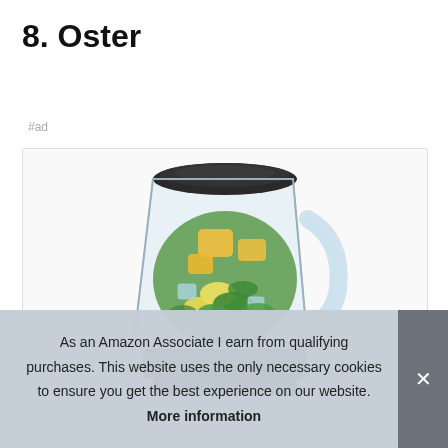8. Oster
#ad
[Figure (photo): A glass blender jar filled with green vegetables, yellow mango cubes, banana slices and other fruits/ingredients, with a dark lid on top. The blender sits on a base with controls visible at the bottom.]
As an Amazon Associate I earn from qualifying purchases. This website uses the only necessary cookies to ensure you get the best experience on our website. More information